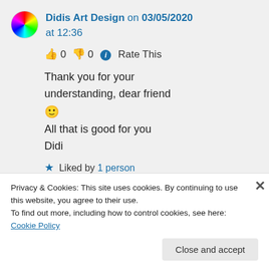Didis Art Design on 03/05/2020 at 12:36
👍 0 👎 0 ℹ Rate This
Thank you for your understanding, dear friend 🙂 All that is good for you
Didi
★ Liked by 1 person
Privacy & Cookies: This site uses cookies. By continuing to use this website, you agree to their use.
To find out more, including how to control cookies, see here: Cookie Policy
Close and accept